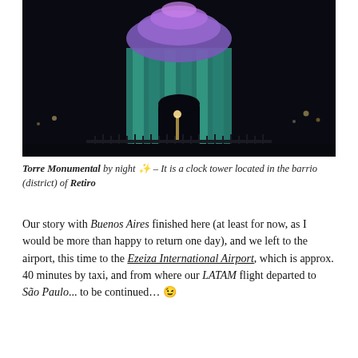[Figure (photo): Night photo of Torre Monumental, a clock tower illuminated with teal and purple lights against a dark sky]
Torre Monumental by night ✨ – It is a clock tower located in the barrio (district) of Retiro
Our story with Buenos Aires finished here (at least for now, as I would be more than happy to return one day), and we left to the airport, this time to the Ezeiza International Airport, which is approx. 40 minutes by taxi, and from where our LATAM flight departed to São Paulo... to be continued… 😉